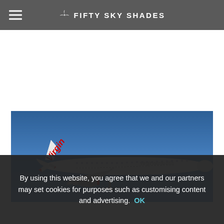FIFTY SKY SHADES
[Figure (photo): Virgin Australia aircraft (wide-body jet) in flight against a blue sky, with 'Virgin' written in red on the tail and 'virginaustralia' on the fuselage.]
By using this website, you agree that we and our partners may set cookies for purposes such as customising content and advertising. OK